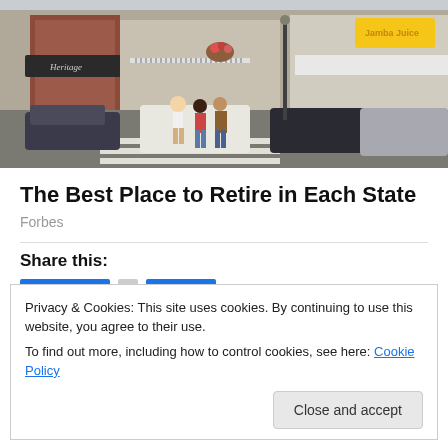[Figure (photo): Street scene showing pedestrians crossing a crosswalk in front of retail shops with storefronts and parked cars along the street.]
The Best Place to Retire in Each State
Forbes
Share this:
Privacy & Cookies: This site uses cookies. By continuing to use this website, you agree to their use.
To find out more, including how to control cookies, see here: Cookie Policy
Related